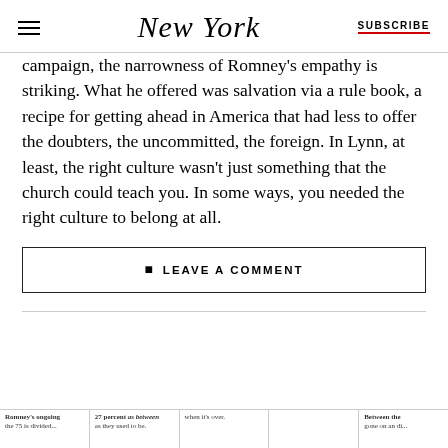NEW YORK | SUBSCRIBE
...campaign, the narrowness of Romney's empathy is striking. What he offered was salvation via a rule book, a recipe for getting ahead in America that had less to offer the doubters, the uncommitted, the foreign. In Lynn, at least, the right culture wasn't just something that the church could teach you. In some ways, you needed the right culture to belong at all.
LEAVE A COMMENT